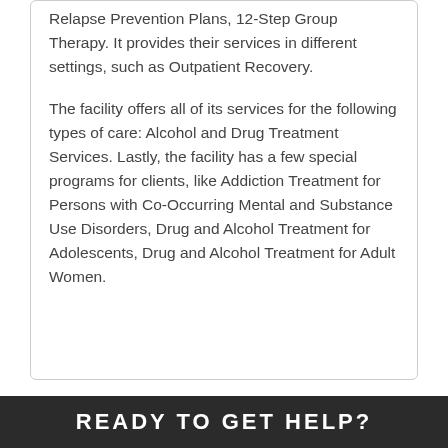Relapse Prevention Plans, 12-Step Group Therapy. It provides their services in different settings, such as Outpatient Recovery.
The facility offers all of its services for the following types of care: Alcohol and Drug Treatment Services. Lastly, the facility has a few special programs for clients, like Addiction Treatment for Persons with Co-Occurring Mental and Substance Use Disorders, Drug and Alcohol Treatment for Adolescents, Drug and Alcohol Treatment for Adult Women.
READY TO GET HELP?